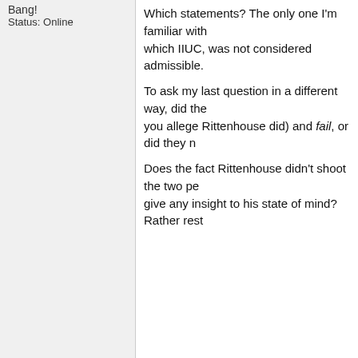Bang!
Status: Online
Which statements? The only one I'm familiar with... which IIUC, was not considered admissible.

To ask my last question in a different way, did the... you allege Rittenhouse did) and fail, or did they n...

Does the fact Rittenhouse didn't shoot the two pe... give any insight to his state of mind? Rather rest...
OreoCookie
Moderator
ℏℏℏℏℏ
Join Date: May 2001
Location: Hilbert space
Status: Offline
Nov 19, 2021, 12:50 AM
Originally Posted by subego
Which statements? The only one I'm famili... shoplifters, which IIUC, was not considered...
I try not to get distracted by pointless details. Ritt... is not in dispute. He admitted going to the venue... (including the testimony) is in dispute or inadmiss... applies or not.